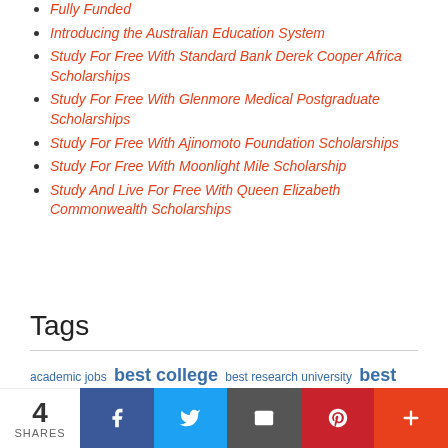Fully Funded
Introducing the Australian Education System
Study For Free With Standard Bank Derek Cooper Africa Scholarships
Study For Free With Glenmore Medical Postgraduate Scholarships
Study For Free With Ajinomoto Foundation Scholarships
Study For Free With Moonlight Mile Scholarship
Study And Live For Free With Queen Elizabeth Commonwealth Scholarships
Tags
academic jobs  best college  best research university  best universities